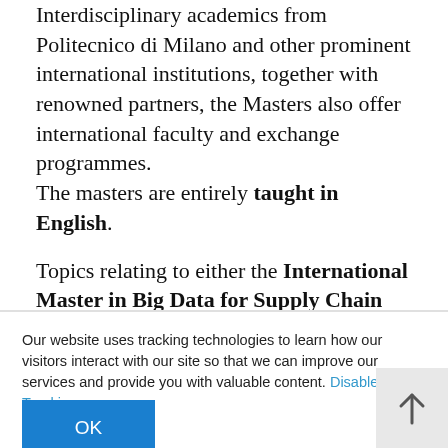Interdisciplinary academics from Politecnico di Milano and other prominent international institutions, together with renowned partners, the Masters also offer international faculty and exchange programmes. The masters are entirely taught in English.
Topics relating to either the International Master in Big Data for Supply Chain Analytics or the International Master in Big Data for Healthcare and Biotech which are included in the International Master in Business Analytics and Big Data are considered to form two major
Our website uses tracking technologies to learn how our visitors interact with our site so that we can improve our services and provide you with valuable content. Disable Tracking.